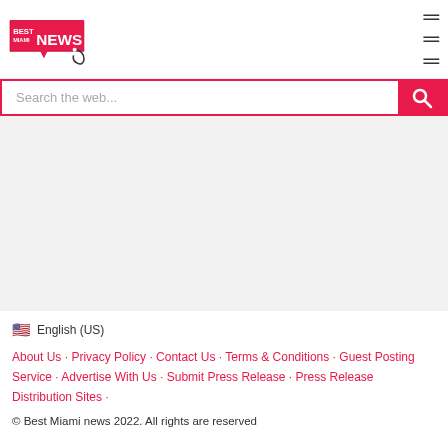Best Miami News
Search the web...
English (US)
About Us · Privacy Policy · Contact Us · Terms & Conditions · Guest Posting Service · Advertise With Us · Submit Press Release · Press Release Distribution Sites ·
© Best Miami news 2022. All rights are reserved